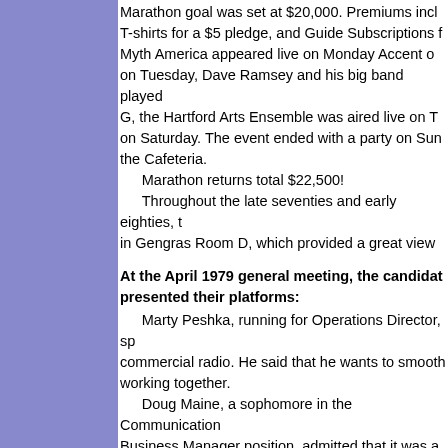Marathon goal was set at $20,000. Premiums incl T-shirts for a $5 pledge, and Guide Subscriptions f Myth America appeared live on Monday Accent o on Tuesday, Dave Ramsey and his big band played G, the Hartford Arts Ensemble was aired live on T on Saturday. The event ended with a party on Sun the Cafeteria.
    Marathon returns total $22,500!
    Throughout the late seventies and early eighties, t in Gengras Room D, which provided a great view
At the April 1979 general meeting, the candidat presented their platforms:
Marty Peshka, running for Operations Director, sp commercial radio. He said that he wants to smooth working together.
Doug Maine, a sophomore in the Communication Business Manager position, admitted that it was a handle what needed to be done.
John Ramsey, running for re-election as Chief En maintenance of the equipment, and said that he wo
Rich Aubin was nominated for the Program Direc "good for another 12 months".
Marsha Lasker, one of the two candidates for Ger keep the station ideal the same: WWUH should be